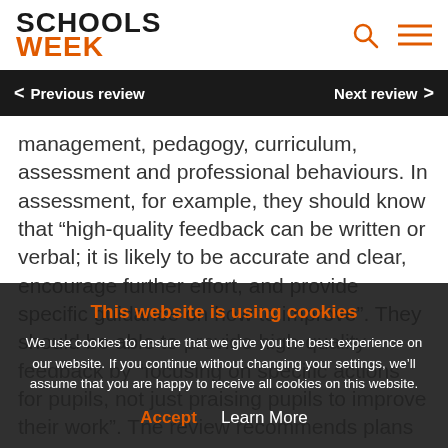SCHOOLS WEEK
Previous review | Next review
management, pedagogy, curriculum, assessment and professional behaviours. In assessment, for example, they should know that “high-quality feedback can be written or verbal; it is likely to be accurate and clear, encourage further effort, and provide specific guidance on how to improve”. They should be able to provide high-quality feedback by “focusing on specific actions for pupils, not just praising pupils to improve their work”. The review recommends plans to ensure teachers can master these skills and knowledge, including a timetable reduction for second-year teachers, training materials and support for mentors.
This website is using cookies
We use cookies to ensure that we give you the best experience on our website. If you continue without changing your settings, we’ll assume that you are happy to receive all cookies on this website.
Accept  Learn More